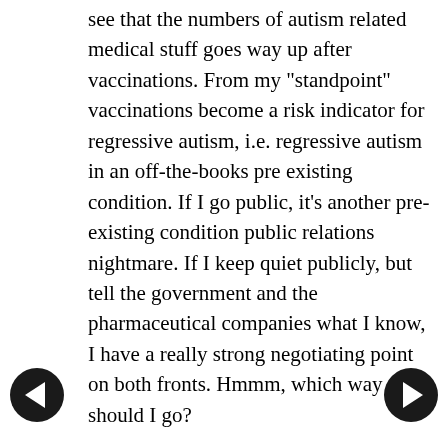see that the numbers of autism related medical stuff goes way up after vaccinations. From my "standpoint" vaccinations become a risk indicator for regressive autism, i.e. regressive autism in an off-the-books pre existing condition. If I go public, it's another pre-existing condition public relations nightmare. If I keep quiet publicly, but tell the government and the pharmaceutical companies what I know, I have a really strong negotiating point on both fronts. Hmmm, which way should I go?

So, yeah, it's a lot to overcome from an autism insurance advocacy point. I wonder if, then, it would be easier to start by vying for non-regressive autism coverage and take it from there?